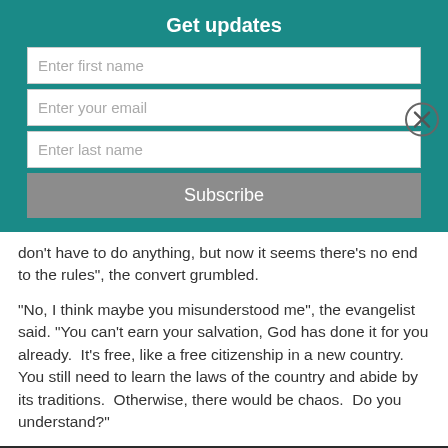Get updates
Enter first name
Enter your email
Enter last name
Subscribe
don't have to do anything, but now it seems there's no end to the rules", the convert grumbled.
"No, I think maybe you misunderstood me", the evangelist said. "You can't earn your salvation, God has done it for you already.  It's free, like a free citizenship in a new country.  You still need to learn the laws of the country and abide by its traditions.  Otherwise, there would be chaos.  Do you understand?"
This website uses cookies
OKAY
MORE INFO